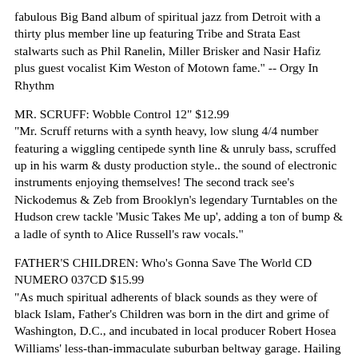fabulous Big Band album of spiritual jazz from Detroit with a thirty plus member line up featuring Tribe and Strata East stalwarts such as Phil Ranelin, Miller Brisker and Nasir Hafiz plus guest vocalist Kim Weston of Motown fame." -- Orgy In Rhythm
MR. SCRUFF: Wobble Control 12" $12.99
"Mr. Scruff returns with a synth heavy, low slung 4/4 number featuring a wiggling centipede synth line & unruly bass, scruffed up in his warm & dusty production style.. the sound of electronic instruments enjoying themselves! The second track see's Nickodemus & Zeb from Brooklyn's legendary Turntables on the Hudson crew tackle 'Music Takes Me up', adding a ton of bump & a ladle of synth to Alice Russell's raw vocals."
FATHER'S CHILDREN: Who's Gonna Save The World CD NUMERO 037CD $15.99
"As much spiritual adherents of black sounds as they were of black Islam, Father's Children was born in the dirt and grime of Washington, D.C., and incubated in local producer Robert Hosea Williams' less-than-immaculate suburban beltway garage. Hailing from the Adams-Morgan neighborhood, in 1973 Nick Smith, Billy Sumler, and Ted 'Skeet' Carpenter created a lost document of gritty soul, concerned with its own time and place, stripped of the L.A. gloss that permeated the group's own 1979 'debut' for Mercury. Unreleased until now, Father's Children's true freshman offering is